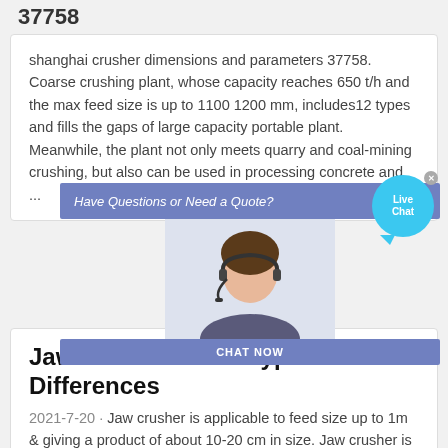37758
shanghai crusher dimensions and parameters 37758. Coarse crushing plant, whose capacity reaches 650 t/h and the max feed size is up to 1100 1200 mm, includes12 types and fills the gaps of large capacity portable plant. Meanwhile, the plant not only meets quarry and coal-mining crushing, but also can be used in processing concrete and ...
[Figure (photo): Popup overlay with 'Have Questions or Need a Quote?' banner in purple/blue, with an X close button, a headset-wearing woman customer service representative image, a 'CHAT NOW' button, and a 'Live Chat' speech bubble icon in cyan on the right]
Jaw Crushers with Types and Differences
2021-7-20 · Jaw crusher is applicable to feed size up to 1m & giving a product of about 10-20 cm in size. Jaw crusher is not suitable for hard and abrasive material. It is an 180o machine which means that it works 90o and rests 90o. Some of the lumps can pass without being crushed. Sticky material cannot be crushed in this crusher.